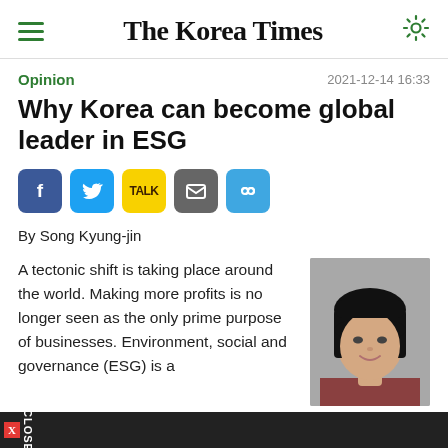The Korea Times
Opinion   2021-12-14 16:33
Why Korea can become global leader in ESG
[Figure (other): Social sharing buttons: Facebook, Twitter, KakaoTalk, Email, Link]
By Song Kyung-jin
A tectonic shift is taking place around the world. Making more profits is no longer seen as the only prime purpose of businesses. Environment, social and governance (ESG) is a
[Figure (photo): Headshot photo of author Song Kyung-jin, a woman with short black hair wearing a dark red top, smiling, against a grey background]